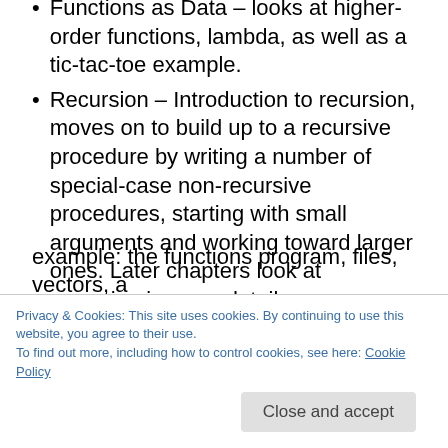Functions as Data – looks at higher-order functions, lambda, as well as a tic-tac-toe example.
Recursion – Introduction to recursion, moves on to build up to a recursive procedure by writing a number of special-case non-recursive procedures, starting with small arguments and working toward larger ones. Later chapters look at recursion in more detail, common patterns in recursive procedures, with an extended example showing off what the reader has been learning to accomplish.
Abstraction – takes a closer look at two specific kinds of abstraction. One is data abstraction, which
example: the functions program, files, vectors, a
Privacy & Cookies: This site uses cookies. By continuing to use this website, you agree to their use.
To find out more, including how to control cookies, see here: Cookie Policy